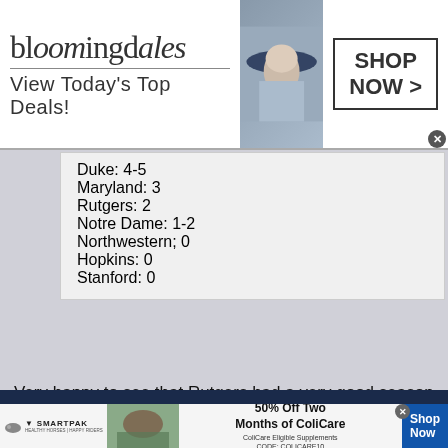[Figure (screenshot): Bloomingdale's advertisement banner with logo, 'View Today's Top Deals!' tagline, woman in hat photo, and 'SHOP NOW >' button]
Duke: 4-5
Maryland: 3
Rutgers: 2
Notre Dame: 1-2
Northwestern; 0
Hopkins: 0
Stanford: 0
Very happy to see that Rutgers had a very good season last year and hopefully will continue to build on the success and develop into a top 20 caliber program but not sure they are in the same category as the other programs listed.
[Figure (screenshot): SmartPak and ColiCare advertisement banner at bottom with horse photo, '50% Off Two Months of ColiCare' offer, CODE: COLICARE10, and Shop Now button]